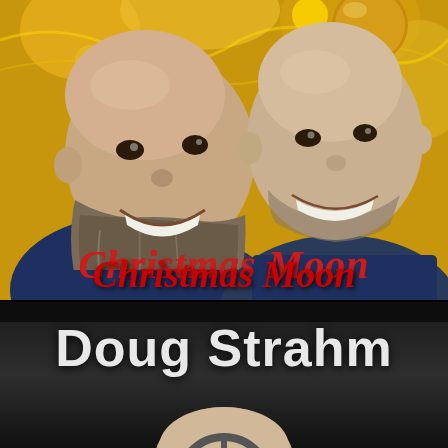[Figure (photo): Two bald men smiling and posing together in a selfie-style photo against a golden/yellow Christmas decoration background. The man on the left has a large gray beard. The man on the right has short stubble. Both wearing dark blue shirts. Text 'Christmas Moon' overlaid in red italic bold font at the bottom of the photo.]
Christmas Moon
[Figure (photo): Dark background section showing artist name 'Doug Strahm' in large white bold text, with a partial view of a person's head and a steering wheel visible at the bottom.]
Doug Strahm